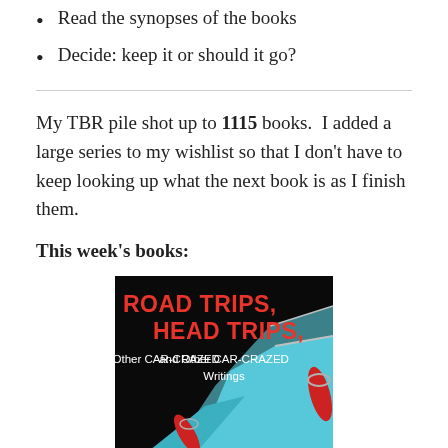Read the synopses of the books
Decide: keep it or should it go?
My TBR pile shot up to 1115 books.  I added a large series to my wishlist so that I don't have to keep looking up what the next book is as I finish them.
This week's books:
[Figure (photo): Book cover for 'Road Trips, Head Trips, and Other CAR-CRAZED Writings' showing classic car tail fins in teal/blue against dark background with red text title]